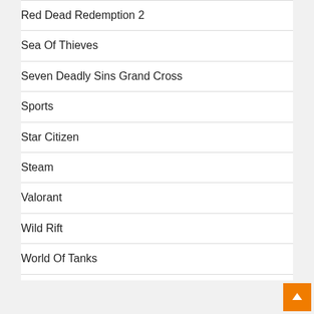Red Dead Redemption 2
Sea Of Thieves
Seven Deadly Sins Grand Cross
Sports
Star Citizen
Steam
Valorant
Wild Rift
World Of Tanks